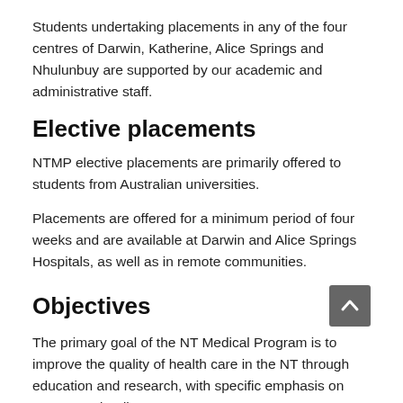Students undertaking placements in any of the four centres of Darwin, Katherine, Alice Springs and Nhulunbuy are supported by our academic and administrative staff.
Elective placements
NTMP elective placements are primarily offered to students from Australian universities.
Placements are offered for a minimum period of four weeks and are available at Darwin and Alice Springs Hospitals, as well as in remote communities.
Objectives
The primary goal of the NT Medical Program is to improve the quality of health care in the NT through education and research, with specific emphasis on remote and Indigenous